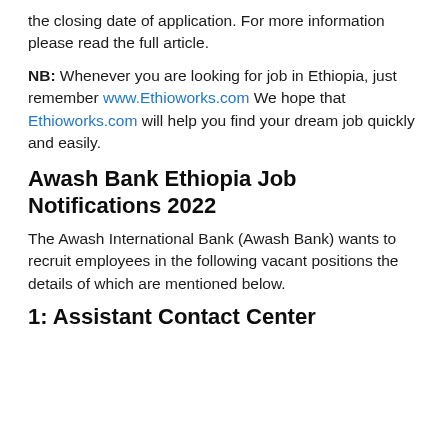the closing date of application. For more information please read the full article.
NB: Whenever you are looking for job in Ethiopia, just remember www.Ethioworks.com We hope that Ethioworks.com will help you find your dream job quickly and easily.
Awash Bank Ethiopia Job Notifications 2022
The Awash International Bank (Awash Bank) wants to recruit employees in the following vacant positions the details of which are mentioned below.
1: Assistant Contact Center